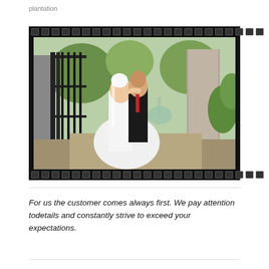plantation
[Figure (photo): Wedding couple — bride in white gown and veil, groom in black suit with red tie — kissing/embracing outdoors at an ornate iron gate entrance with stone pillars and lush green trees in background. Photo presented in a film strip border frame.]
For us the customer comes always first. We pay attention todetails and constantly strive to exceed your expectations.